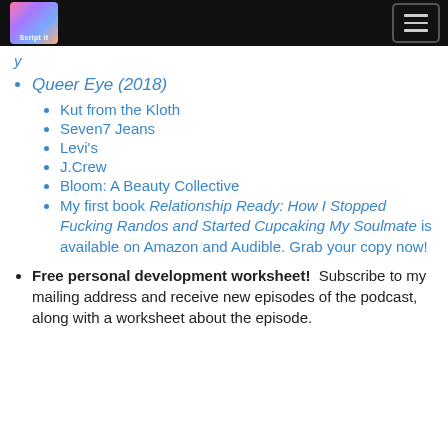Navigation bar with logo and hamburger menu
y
Queer Eye (2018)
Kut from the Kloth
Seven7 Jeans
Levi's
J.Crew
Bloom: A Beauty Collective
My first book Relationship Ready: How I Stopped Fucking Randos and Started Cupcaking My Soulmate is available on Amazon and Audible. Grab your copy now!
Free personal development worksheet!  Subscribe to my mailing address and receive new episodes of the podcast, along with a worksheet about the episode.